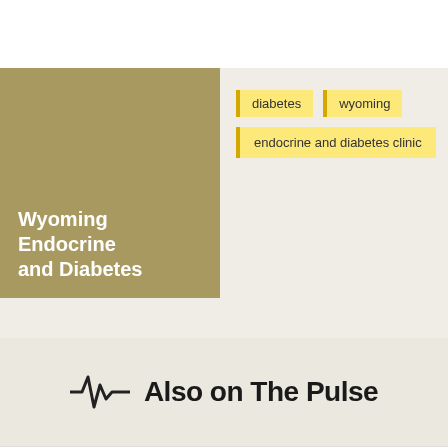Wyoming Endocrine and Diabetes
diabetes
wyoming
endocrine and diabetes clinic
Also on The Pulse
Find a Doctor
Services & Clinics
Visitors & Patients
News & Events